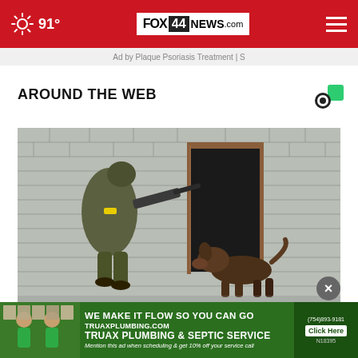91° FOX 44 NEWS.com
Ad by Plaque Psoriasis Treatment | S
AROUND THE WEB
[Figure (photo): Soldier in military gear holding a rifle near a brick wall with a doorway, with a military dog emerging from the doorway]
[Figure (photo): Advertisement for Truax Plumbing & Septic Service showing two men in green shirts. Text: WE MAKE IT FLOW SO YOU CAN GO, TRUAXPLUMBING.COM, TRUAX PLUMBING & SEPTIC SERVICE, Mention this ad when scheduling & get 10% off your service call, Click Here, N18395]